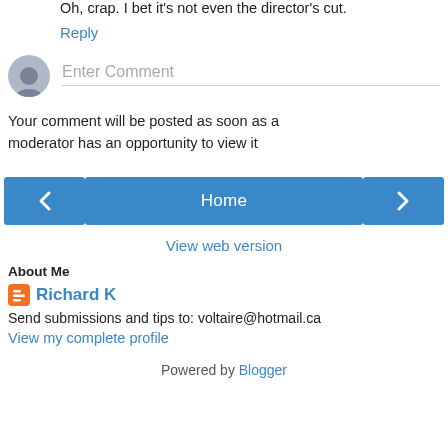Oh, crap. I bet it's not even the director's cut.
Reply
[Figure (other): Comment input box with avatar placeholder and 'Enter Comment' prompt]
Your comment will be posted as soon as a moderator has an opportunity to view it
[Figure (other): Navigation buttons: left arrow, Home, right arrow]
View web version
About Me
Richard K
Send submissions and tips to: voltaire@hotmail.ca
View my complete profile
Powered by Blogger